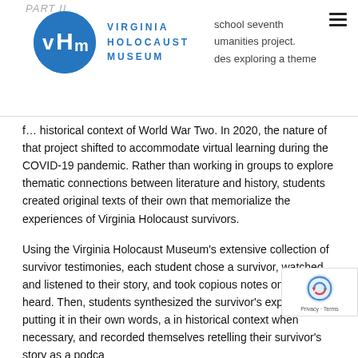PART II
[Figure (logo): Virginia Holocaust Museum logo: blue circle with 'vHm' letters in white, beside text 'VIRGINIA HOLOCAUST MUSEUM' in blue spaced letters]
historical context of World War Two. In 2020, the nature of that project shifted to accommodate virtual learning during the COVID-19 pandemic. Rather than working in groups to explore thematic connections between literature and history, students created original texts of their own that memorialize the experiences of Virginia Holocaust survivors.
Using the Virginia Holocaust Museum's extensive collection of survivor testimonies, each student chose a survivor, watched and listened to their story, and took copious notes on what they heard. Then, students synthesized the survivor's experience, putting it in their own words, adding in historical context when necessary, and recorded themselves retelling their survivor's story as a podcast.